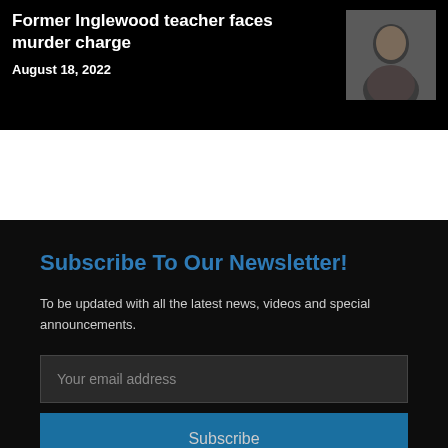Former Inglewood teacher faces murder charge
August 18, 2022
[Figure (photo): Headshot portrait of a man against a dark background]
Subscribe To Our Newsletter!
To be updated with all the latest news, videos and special announcements.
Your email address
Subscribe